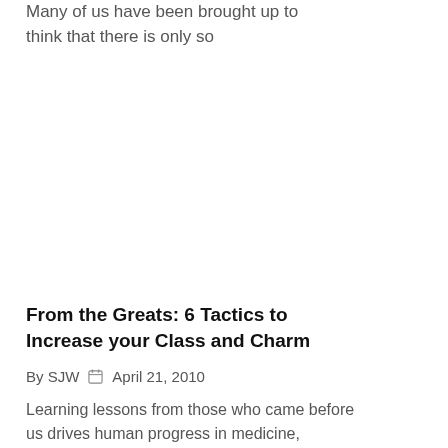Many of us have been brought up to think that there is only so
From the Greats: 6 Tactics to Increase your Class and Charm
By SJW  April 21, 2010
Learning lessons from those who came before us drives human progress in medicine, science